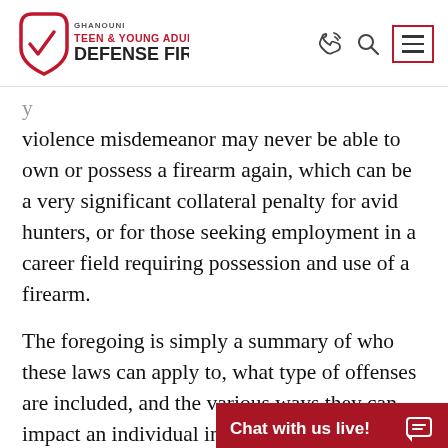[Figure (logo): Ghanouni Teen & Young Adult Defense Firm logo with shield/checkmark graphic]
violence misdemeanor may never be able to own or possess a firearm again, which can be a very significant collateral penalty for avid hunters, or for those seeking employment in a career field requiring possession and use of a firearm.
The foregoing is simply a summary of who these laws can apply to, what type of offenses are included, and the various ways they can impact an individual in and out of court. People often believe that these c[ontinued...]
[Figure (other): Chat with us live! button bar in dark red with chat icon]